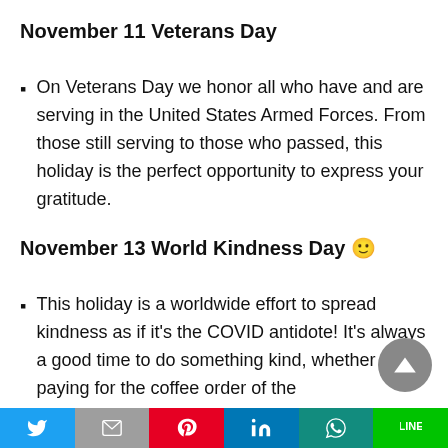November 11 Veterans Day
On Veterans Day we honor all who have and are serving in the United States Armed Forces. From those still serving to those who passed, this holiday is the perfect opportunity to express your gratitude.
November 13 World Kindness Day 🙂
This holiday is a worldwide effort to spread kindness as if it's the COVID antidote! It's always a good time to do something kind, whether it's paying for the coffee order of the